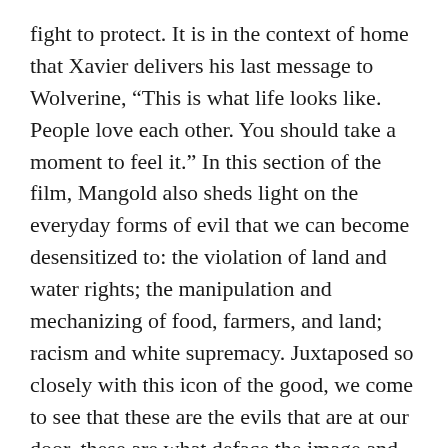fight to protect. It is in the context of home that Xavier delivers his last message to Wolverine, “This is what life looks like. People love each other. You should take a moment to feel it.” In this section of the film, Mangold also sheds light on the everyday forms of evil that we can become desensitized to: the violation of land and water rights; the manipulation and mechanizing of food, farmers, and land; racism and white supremacy. Juxtaposed so closely with this icon of the good, we come to see that these are the evils that are at our door, these are what deface the image and violate the memory of what makes life good.
This month, I will graduate from the Seattle School with a Master of Arts in Theology & Culture. I can’t help but read this film through both a creative and a theological